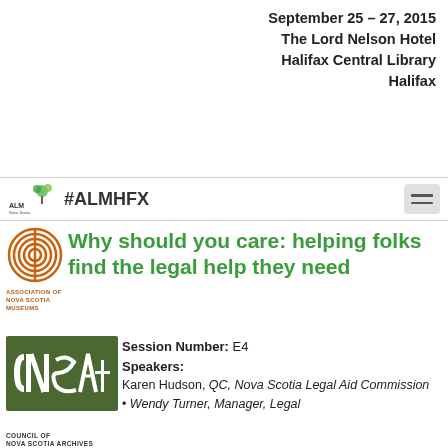September 25 – 27, 2015
The Lord Nelson Hotel
Halifax Central Library
Halifax
#ALMHFX
Why should you care: helping folks find the legal help they need
Session Number: E4
Speakers:
Karen Hudson, QC, Nova Scotia Legal Aid Commission
Wendy Turner, Manager, Legal